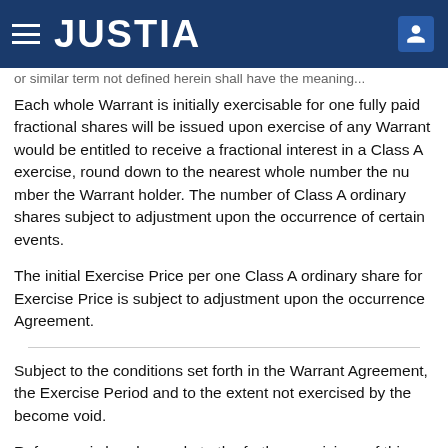JUSTIA
or similar term not defined herein shall have the meaning...
Each whole Warrant is initially exercisable for one fully paid fractional shares will be issued upon exercise of any Warra would be entitled to receive a fractional interest in a Class exercise, round down to the nearest whole number the nu the Warrant holder. The number of Class A ordinary share subject to adjustment upon the occurrence of certain eve
The initial Exercise Price per one Class A ordinary share fo Exercise Price is subject to adjustment upon the occurrenc Agreement.
Subject to the conditions set forth in the Warrant Agreeme the Exercise Period and to the extent not exercised by the become void.
Reference is hereby made to the further provisions of this